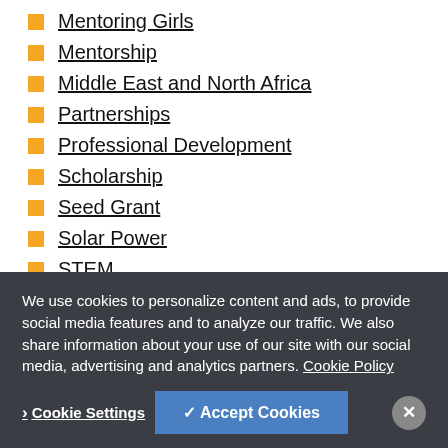Mentoring Girls
Mentorship
Middle East and North Africa
Partnerships
Professional Development
Scholarship
Seed Grant
Solar Power
STEM
Sub-Saharan Africa
Technology
Uncategorized
We use cookies to personalize content and ads, to provide social media features and to analyze our traffic. We also share information about your use of our site with our social media, advertising and analytics partners. Cookie Policy
Cookie Settings | Accept Cookies